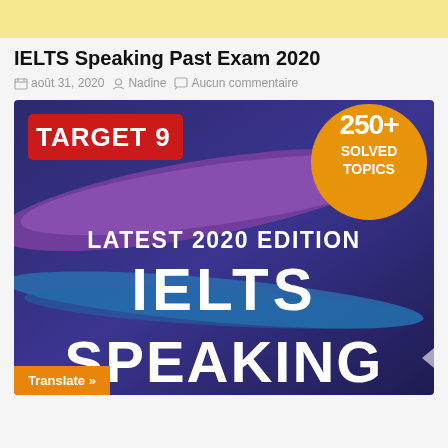[Figure (illustration): Yellow advertisement banner at top of page]
IELTS Speaking Past Exam 2020
août 31, 2020  Nadine  Aucun commentaire
[Figure (illustration): Book cover for IELTS Speaking Latest 2020 Edition - Target 9, 250+ Solved Topics, showing colorful purple and blue paint brush strokes background with large white text IELTS SPEAKING and LATEST 2020 EDITION]
Translate »